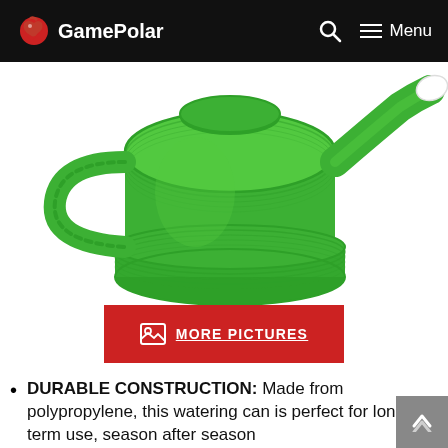GamePolar — Menu
[Figure (photo): Green plastic watering can with a curved handle and long spout, photographed on white background]
MORE PICTURES
DURABLE CONSTRUCTION: Made from polypropylene, this watering can is perfect for long-term use, season after season